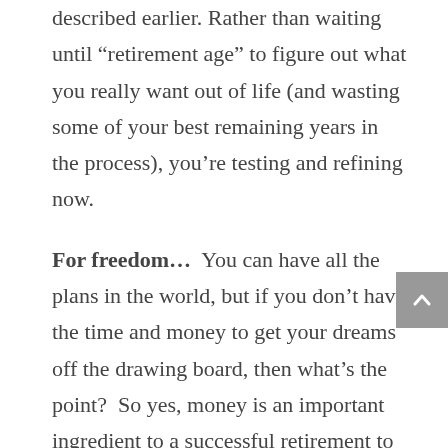described earlier. Rather than waiting until “retirement age” to figure out what you really want out of life (and wasting some of your best remaining years in the process), you’re testing and refining now.
For freedom…  You can have all the plans in the world, but if you don’t have the time and money to get your dreams off the drawing board, then what’s the point?  So yes, money is an important ingredient to a successful retirement to the extent that you use it to buy your freedom.  Just remember that your goal isn’t to have more money for money’s sake.  Your goal is to have a better life.  Ralph Waldo